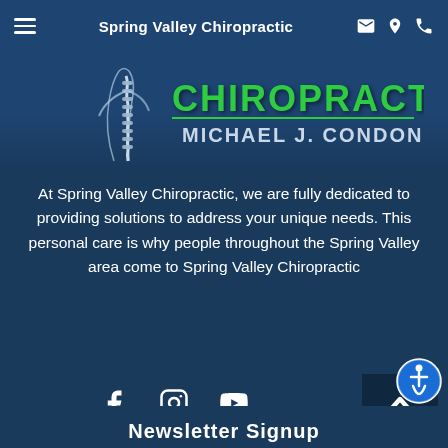Spring Valley Chiropractic
[Figure (logo): Spring Valley Chiropractic logo with spine illustration and text 'CHIROPRACTIC MICHAEL J. CONDON, D.C.']
At Spring Valley Chiropractic, we are fully dedicated to providing solutions to address your unique needs. This personal care is why people throughout the Spring Valley area come to Spring Valley Chiropractic
[Figure (infographic): Social media icons: Facebook, Instagram, YouTube]
Newsletter Signup